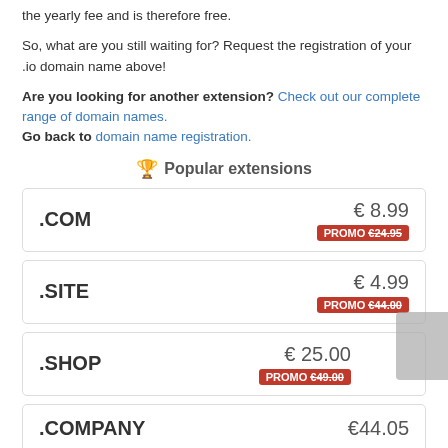the yearly fee and is therefore free.
So, what are you still waiting for? Request the registration of your .io domain name above!
Are you looking for another extension? Check out our complete range of domain names. Go back to domain name registration.
🏆 Popular extensions
| Extension | Price | Promo |
| --- | --- | --- |
| .COM | € 8.99 | PROMO €24.95 |
| .SITE | € 4.99 | PROMO €44.00 |
| .SHOP | € 25.00 | PROMO €49.00 |
| .COMPANY | €44.05 |  |